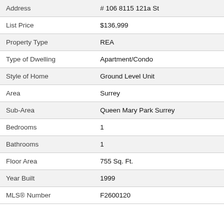| Field | Value |
| --- | --- |
| Address | # 106 8115 121a St |
| List Price | $136,999 |
| Property Type | REA |
| Type of Dwelling | Apartment/Condo |
| Style of Home | Ground Level Unit |
| Area | Surrey |
| Sub-Area | Queen Mary Park Surrey |
| Bedrooms | 1 |
| Bathrooms | 1 |
| Floor Area | 755 Sq. Ft. |
| Year Built | 1999 |
| MLS® Number | F2600120 |